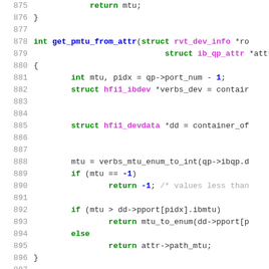Source code listing, lines 875-901, C programming language
875     return mtu;
876 }
877
878 int get_pmtu_from_attr(struct rvt_dev_info *ro
879                             struct ib_qp_attr *attr
880 {
881         int mtu, pidx = qp->port_num - 1;
882         struct hfi1_ibdev *verbs_dev = contair
883
884
885         struct hfi1_devdata *dd = container_of
886
887
888         mtu = verbs_mtu_enum_to_int(qp->ibqp.d
889         if (mtu == -1)
890                 return -1; /* values less than
891
892         if (mtu > dd->pport[pidx].ibmtu)
893                 return mtu_to_enum(dd->pport[p
894         else
895                 return attr->path_mtu;
896 }
897
898 void notify_error_qp(struct rvt_qp *qp)
899 {
900         struct hfi1_ibdev *dev = to_idev(qp->
901         struct hfi1_qp_priv *priv = qp->priv;